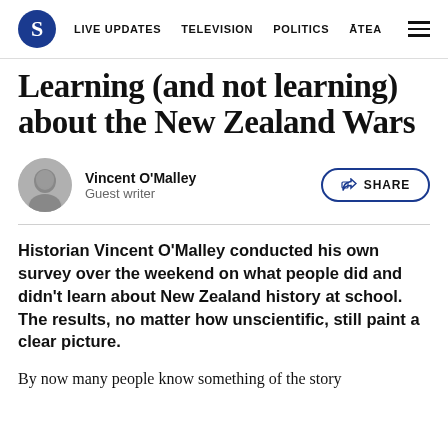S  LIVE UPDATES  TELEVISION  POLITICS  ĀTEA
Learning (and not learning) about the New Zealand Wars
Vincent O'Malley
Guest writer
Historian Vincent O'Malley conducted his own survey over the weekend on what people did and didn't learn about New Zealand history at school. The results, no matter how unscientific, still paint a clear picture.
By now many people know something of the story